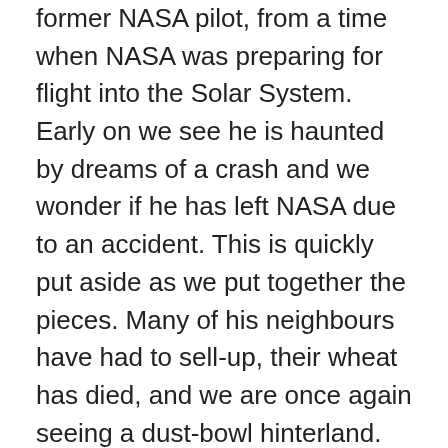former NASA pilot, from a time when NASA was preparing for flight into the Solar System. Early on we see he is haunted by dreams of a crash and we wonder if he has left NASA due to an accident. This is quickly put aside as we put together the pieces. Many of his neighbours have had to sell-up, their wheat has died, and we are once again seeing a dust-bowl hinterland. They grow corn and are surviving, they have “plenty of corn”. Murph believes she has a ghost in her room because books are falling off the shelf and Coop’s module of the lunar Lander mysteriously fell from the book –case and broke. At a parent teacher conference we learn that Tom has been designated a “Farmer” he is not smart enough for